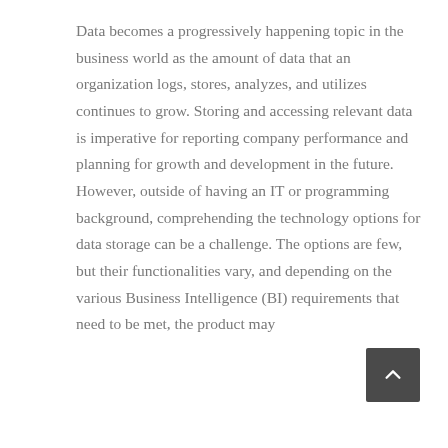Data becomes a progressively happening topic in the business world as the amount of data that an organization logs, stores, analyzes, and utilizes continues to grow. Storing and accessing relevant data is imperative for reporting company performance and planning for growth and development in the future. However, outside of having an IT or programming background, comprehending the technology options for data storage can be a challenge. The options are few, but their functionalities vary, and depending on the various Business Intelligence (BI) requirements that need to be met, the product may